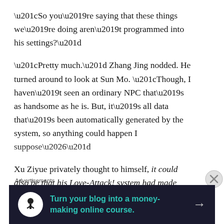“So you’re saying that these things we’re doing aren’t programmed into his settings?”
“Pretty much.” Zhang Jing nodded. He turned around to look at Sun Mo. “Though, I haven’t seen an ordinary NPC that’s as handsome as he is. But, it’s all data that’s been automatically generated by the system, so anything could happen I suppose…”
Xu Ziyue privately thought to himself, it could also be that his Love-Attack! system had made some programming changes for him.. Maybe this NPC doesn’t belong to that horror game the others were playing?
Advertisements
[Figure (other): Advertisement banner: dark background with white circle icon (person/tree silhouette), teal text reading 'Turn your blog into a money-making online course.' and a right-pointing arrow.]